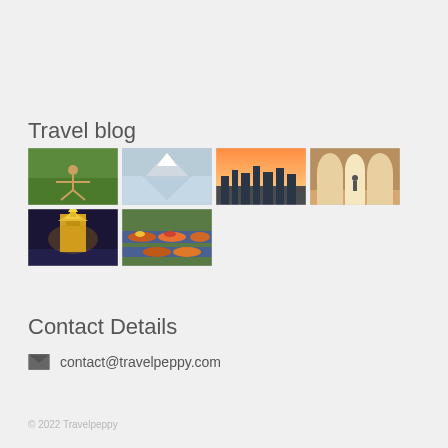Travel blog
[Figure (photo): Grid of 6 travel photos: yoga in green landscape, Matterhorn reflection, Hong Kong skyline at sunset, arched hall with person walking, Wat Arun temple at night, floating market with boats]
Contact Details
contact@travelpeppy.com
© 2022 Travelpeppy